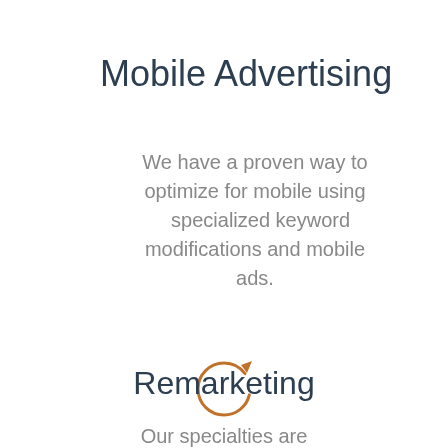Mobile Advertising
We have a proven way to optimize for mobile using specialized keyword modifications and mobile ads.
[Figure (illustration): A circular arrow icon (refresh/redo symbol) in orange-brown color, indicating a reload or remarketing concept.]
Remarketing
Our specialties are